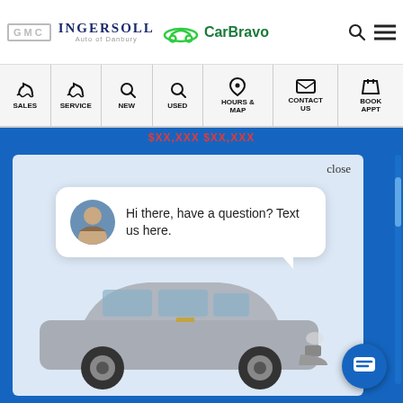[Figure (screenshot): GMC logo text in gray with border]
[Figure (logo): Ingersoll Auto of Danbury logo in navy serif text]
[Figure (logo): CarBravo logo with green car icon and green bold text]
[Figure (screenshot): Navigation bar with icons for SALES, SERVICE, NEW, USED, HOURS & MAP, CONTACT US, BOOK APPT]
close
Hi there, have a question? Text us here.
[Figure (photo): Silver Chevrolet SUV/crossover vehicle on light blue-gray background]
[Figure (illustration): Blue circular chat button with message icon]